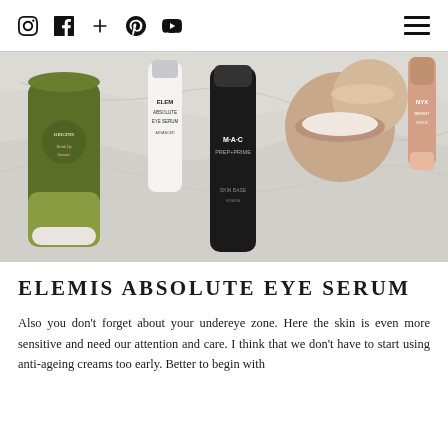Social icons: Instagram, Facebook, Plus, Pinterest, YouTube | Menu
[Figure (photo): Flat-lay photograph of beauty/skincare products on a marble surface: Origins green tube, Elemis Absolute Eye Serum white bottle, MAC Prep+Prime black bottle, an open cream jar with rose-gold lid, and an NYX highlight stick.]
ELEMIS ABSOLUTE EYE SERUM
Also you don't forget about your undereye zone. Here the skin is even more sensitive and need our attention and care. I think that we don't have to start using anti-ageing creams too early. Better to begin with